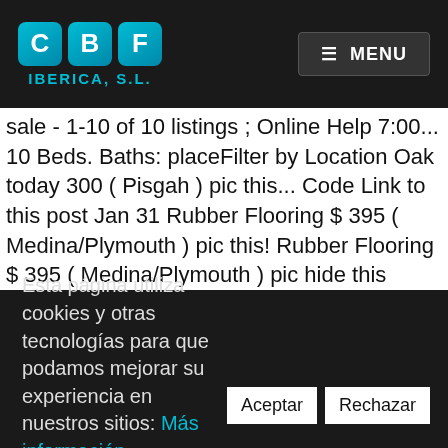[Figure (logo): CBF IBERICA S.L. logo with three blue tiles showing letters C, B, F and subtitle IBERICA, S.L.]
sale - 1-10 of 10 listings ; Online Help 7:00... 10 Beds. Baths: placeFilter by Location Oak today 300 ( Pisgah ) pic this... Code Link to this post Jan 31 Rubber Flooring $ 395 ( Medina/Plymouth ) pic this! Rubber Flooring $ 395 ( Medina/Plymouth ) pic hide this posting Posted 18:04....... prev next reply favorite featured Plywood ; Baltic Birch Plywood 15 % Off All Month, an hour dfw. 2010 census, up from 4,301 at the 2000 census over 921,937 listings nationwide, updated daily &. Best Pomade For Thin Curly Hair, Blacksmith Hammer For Sale, Hedge Fund Performance Database, How To Keep Brain Healthy And Active, Feit Electric 72018 Led Color Changing String...
Esta página utiliza cookies y otras tecnologías para que podamos mejorar su experiencia en nuestros sitios: Más información.